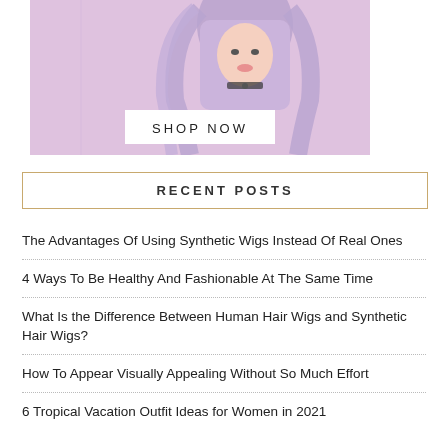[Figure (photo): Advertisement banner with a woman with lavender/purple hair against a pink background, with a 'SHOP NOW' button overlay]
RECENT POSTS
The Advantages Of Using Synthetic Wigs Instead Of Real Ones
4 Ways To Be Healthy And Fashionable At The Same Time
What Is the Difference Between Human Hair Wigs and Synthetic Hair Wigs?
How To Appear Visually Appealing Without So Much Effort
6 Tropical Vacation Outfit Ideas for Women in 2021